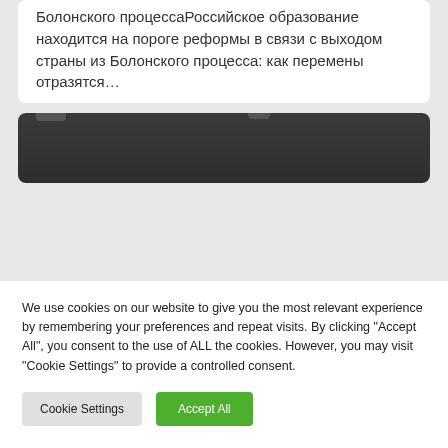Болонского процессаРоссийское образование находится на пороге реформы в связи с выходом страны из Болонского процесса: как перемены отразятся…
[Figure (photo): Dark rectangular image with a dark toolbar or header bar visible at the top]
We use cookies on our website to give you the most relevant experience by remembering your preferences and repeat visits. By clicking "Accept All", you consent to the use of ALL the cookies. However, you may visit "Cookie Settings" to provide a controlled consent.